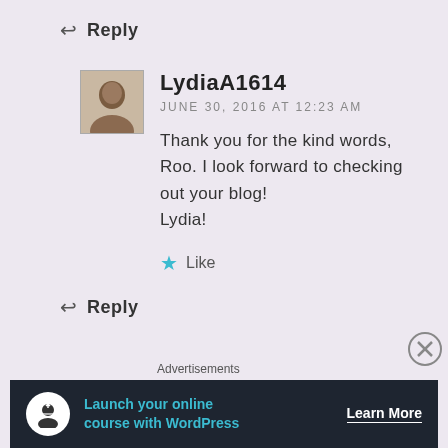↩ Reply
LydiaA1614
JUNE 30, 2016 AT 12:23 AM
Thank you for the kind words, Roo. I look forward to checking out your blog!
Lydia!
★ Like
↩ Reply
Advertisements
[Figure (infographic): Dark advertisement banner for WordPress online courses with teal text 'Launch your online course with WordPress' and 'Learn More' button]